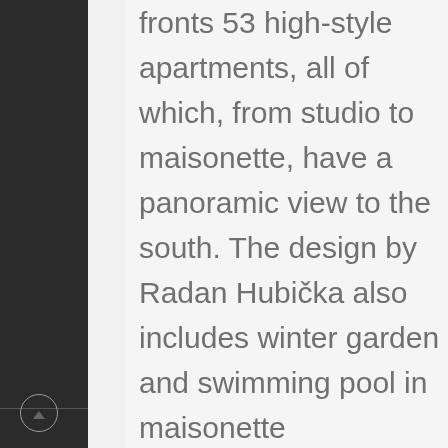fronts 53 high-style apartments, all of which, from studio to maisonette, have a panoramic view to the south. The design by Radan Hubička also includes winter garden and swimming pool in maisonette penthouses. Apartments run the range of 80-300 m2, and quality is almost unparalleled. Kitchens include under-floor heating, granite counters, and Miele appliances. Luxury